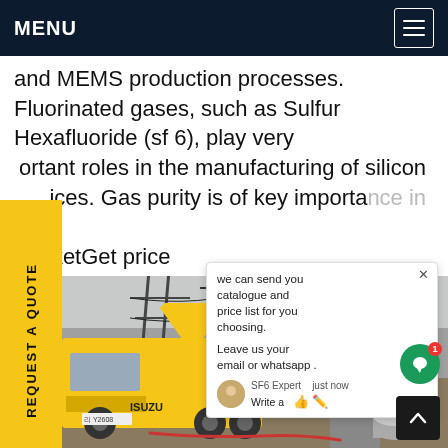MENU
and MEMS production processes. Fluorinated gases, such as Sulfur Hexafluoride (sf 6), play very important roles in the manufacturing of silicon devices. Gas purity is of key importance in this market​Get price
[Figure (photo): Yellow Isuzu truck at an industrial electrical substation site with large machinery and power lines]
REQUEST A QUOTE
we can send you catalogue and price list for you choosing. Leave us your email or whatsapp .
SF6 Expert  just now
Write a